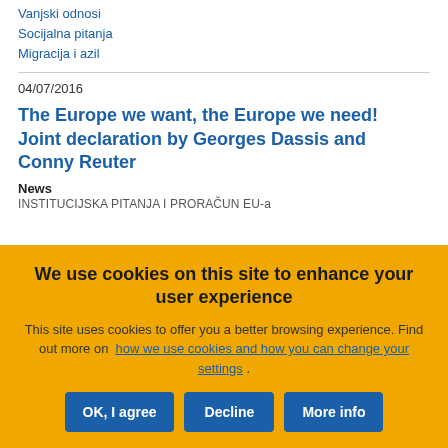Vanjski odnosi
Socijalna pitanja
Migracija i azil
04/07/2016
The Europe we want, the Europe we need! Joint declaration by Georges Dassis and Conny Reuter
News
INSTITUCIJSKA PITANJA I PRORAČUN EU-a
We use cookies on this site to enhance your user experience
This site uses cookies to offer you a better browsing experience. Find out more on how we use cookies and how you can change your settings .
OK, I agree | Decline | More info